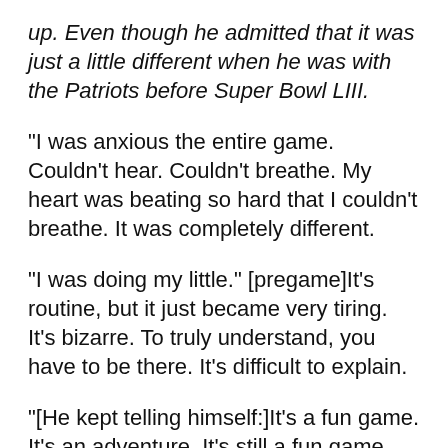up. Even though he admitted that it was just a little different when he was with the Patriots before Super Bowl LIII.
“I was anxious the entire game. Couldn't hear. Couldn't breathe. My heart was beating so hard that I couldn't breathe. It was completely different.
“I was doing my little.” [pregame]It's routine, but it just became very tiring. It's bizarre. To truly understand, you have to be there. It's difficult to explain.
“[He kept telling himself:]It's a fun game. It's an adventure. It's still a fun game that we have been playing for our entire lives. Just come in and enjoy the game.